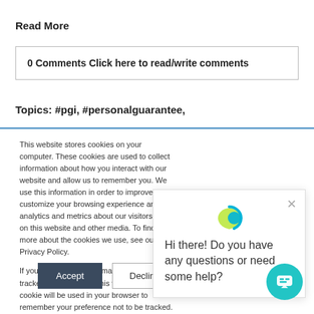Read More
0 Comments Click here to read/write comments
Topics: #pgi, #personalguarantee,
This website stores cookies on your computer. These cookies are used to collect information about how you interact with our website and allow us to remember you. We use this information in order to improve and customize your browsing experience and for analytics and metrics about our visitors both on this website and other media. To find out more about the cookies we use, see our Privacy Policy.
If you decline, your information won't be tracked when you visit this website. A single cookie will be used in your browser to remember your preference not to be tracked.
Hi there! Do you have any questions or need some help?